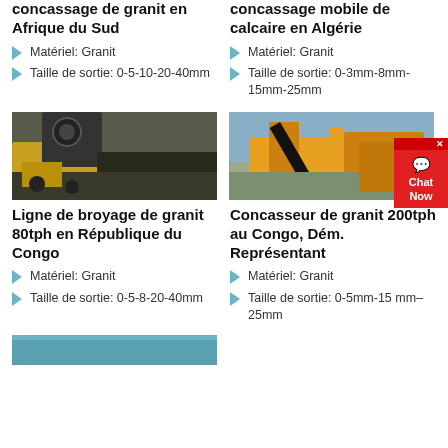concassage de granit en Afrique du Sud
Matériel: Granit
Taille de sortie: 0-5-10-20-40mm
concassage mobile de calcaire en Algérie
Matériel: Granit
Taille de sortie: 0-3mm-8mm-15mm-25mm
[Figure (photo): Industrial granite crushing machine with yellow body and conveyor belt]
[Figure (photo): Mobile limestone crushing plant with orange equipment and mountain background]
Ligne de broyage de granit 80tph en République du Congo
Matériel: Granit
Taille de sortie: 0-5-8-20-40mm
Concasseur de granit 200tph au Congo, Dém. Représentant
Matériel: Granit
Taille de sortie: 0-5mm-15 mm–25mm
[Figure (photo): Partial preview of another crushing facility (blue tones, cut off at bottom)]